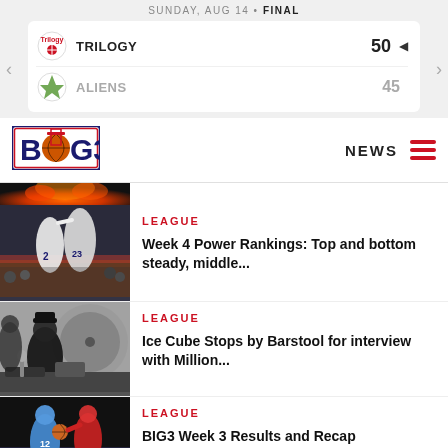SUNDAY, AUG 14 • FINAL
| Team | Score |
| --- | --- |
| TRILOGY | 50 |
| ALIENS | 45 |
[Figure (logo): BIG3 basketball league logo]
NEWS
[Figure (photo): Partial top image - basketball flames]
[Figure (photo): Basketball players high-fiving on court, players wearing #2 and #23]
LEAGUE
Week 4 Power Rankings: Top and bottom steady, middle...
[Figure (photo): Ice Cube sitting at a studio/radio desk for interview]
LEAGUE
Ice Cube Stops by Barstool for interview with Million...
[Figure (photo): Basketball player driving to basket in blue jersey]
LEAGUE
BIG3 Week 3 Results and Recap